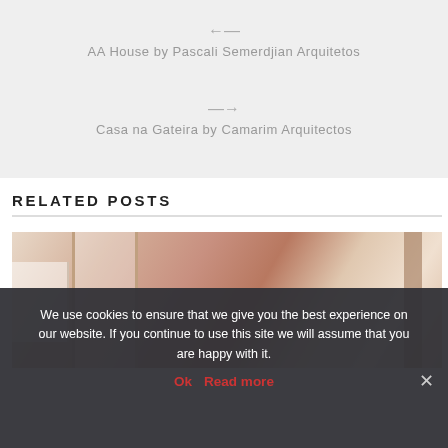← AA House by Pascali Semerdjian Arquitetos
→ Casa na Gateira by Camarim Arquitectos
RELATED POSTS
[Figure (photo): Interior architectural photo showing a hallway or room with warm orange/terracotta ceiling, white walls, door frame, and a metallic column on the right.]
We use cookies to ensure that we give you the best experience on our website. If you continue to use this site we will assume that you are happy with it.
Ok  Read more